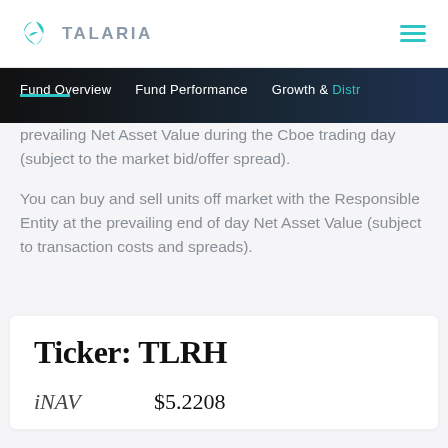TALARIA
Fund Overview   Fund Performance   Growth & Distr
prevailing Net Asset Value during the Cboe trading day (subject to the market bid/offer spread).
You can buy and sell units off market with the Responsible Entity at the prevailing end of day Net Asset Value (subject to transaction costs and spreads).
Ticker: TLRH
iNAV    $5.2208